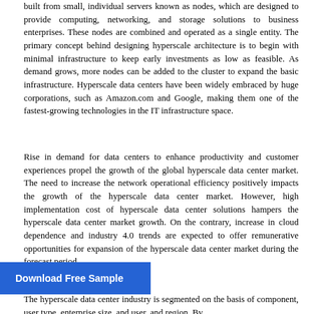built from small, individual servers known as nodes, which are designed to provide computing, networking, and storage solutions to business enterprises. These nodes are combined and operated as a single entity. The primary concept behind designing hyperscale architecture is to begin with minimal infrastructure to keep early investments as low as feasible. As demand grows, more nodes can be added to the cluster to expand the basic infrastructure. Hyperscale data centers have been widely embraced by huge corporations, such as Amazon.com and Google, making them one of the fastest-growing technologies in the IT infrastructure space.
Rise in demand for data centers to enhance productivity and customer experiences propel the growth of the global hyperscale data center market. The need to increase the network operational efficiency positively impacts the growth of the hyperscale data center market. However, high implementation cost of hyperscale data center solutions hampers the hyperscale data center market growth. On the contrary, increase in cloud dependence and industry 4.0 trends are expected to offer remunerative opportunities for expansion of the hyperscale data center market during the forecast period.
Download Free Sample
The hyperscale data center industry is segmented on the basis of component, user type, enterprise size, and user, and region. By